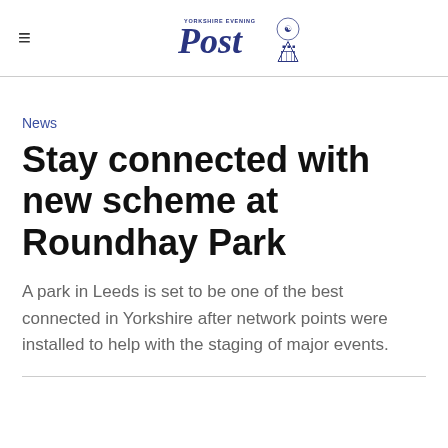Yorkshire Evening Post
News
Stay connected with new scheme at Roundhay Park
A park in Leeds is set to be one of the best connected in Yorkshire after network points were installed to help with the staging of major events.